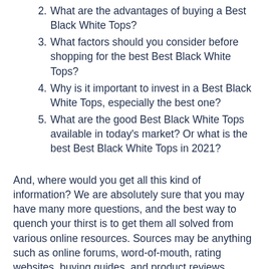2. What are the advantages of buying a Best Black White Tops?
3. What factors should you consider before shopping for the best Best Black White Tops?
4. Why is it important to invest in a Best Black White Tops, especially the best one?
5. What are the good Best Black White Tops available in today's market? Or what is the best Best Black White Tops in 2021?
And, where would you get all this kind of information? We are absolutely sure that you may have many more questions, and the best way to quench your thirst is to get them all solved from various online resources. Sources may be anything such as online forums, word-of-mouth, rating websites, buying guides, and product reviews. Proper research is essential before buying the best